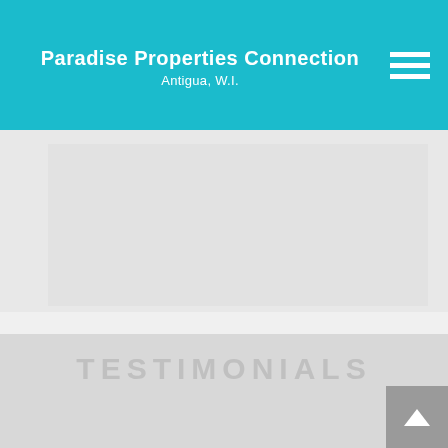Paradise Properties Connection
Antigua, W.I.
[Figure (photo): Gray placeholder image area below the header]
TESTIMONIALS
"Got my house sold in no time at all"
-Charlotte Wisen